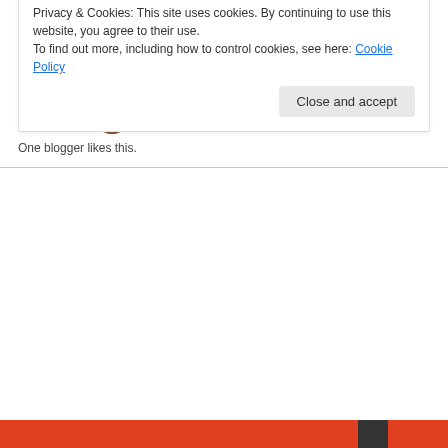Share this:
Twitter  Facebook  Email
Like
One blogger likes this.
Privacy & Cookies: This site uses cookies. By continuing to use this website, you agree to their use.
To find out more, including how to control cookies, see here: Cookie Policy
Close and accept